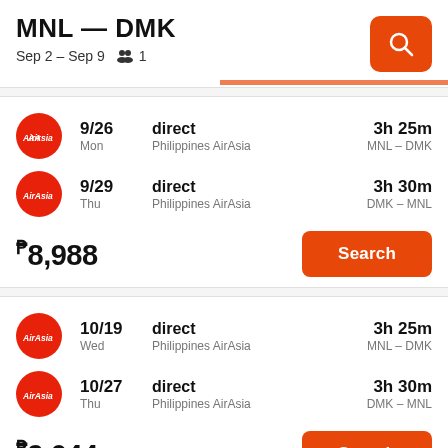MNL — DMK
Sep 2 – Sep 9  1
9/26 Mon | direct | Philippines AirAsia | 3h 25m | MNL – DMK
9/29 Thu | direct | Philippines AirAsia | 3h 30m | DMK – MNL
₱8,988
10/19 Wed | direct | Philippines AirAsia | 3h 25m | MNL – DMK
10/27 Thu | direct | Philippines AirAsia | 3h 30m | DMK – MNL
₱9,044